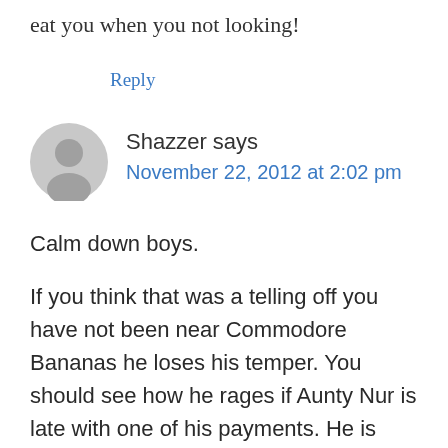eat you when you not looking!
Reply
Shazzer says
November 22, 2012 at 2:02 pm
Calm down boys.
If you think that was a telling off you have not been near Commodore Bananas he loses his temper. You should see how he rages if Aunty Nur is late with one of his payments. He is normally OK with me but he really laid into me when I put too many long words in a speech. When he got off the podium he